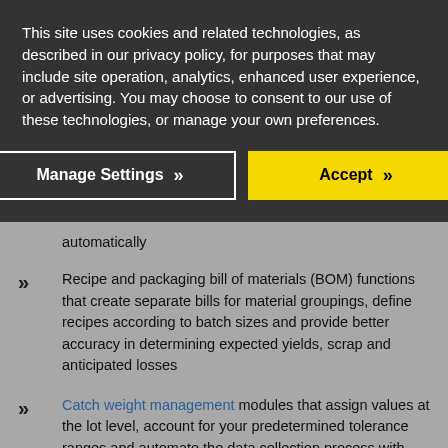This site uses cookies and related technologies, as described in our privacy policy, for purposes that may include site operation, analytics, enhanced user experience, or advertising. You may choose to consent to our use of these technologies, or manage your own preferences.
Manage Settings >>
Accept >>
automatically
Recipe and packaging bill of materials (BOM) functions that create separate bills for material groupings, define recipes according to batch sizes and provide better accuracy in determining expected yields, scrap and anticipated losses
Catch weight management modules that assign values at the lot level, account for your predetermined tolerance ranges and automate the data collection process with connected scales
Other specialized features for consignment tracking